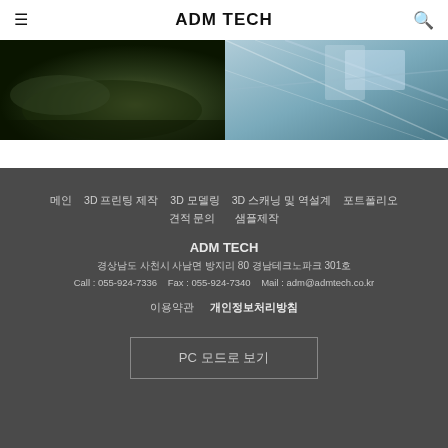ADM TECH
[Figure (photo): Two side-by-side website banner images: left shows a dark green landscape/nature scene, right shows a light blue metallic/industrial abstract scene]
메인   3D 프린팅 제작   3D 모델링   3D 스캐닝 및 역설계   포트폴리오
견적 문의   샘플제작

ADM TECH
경상남도 사천시 사남면 방지리 80 경남테크노파크 301호
Call : 055-924-7336    Fax : 055-924-7340    Mail : adm@admtech.co.kr

이용약관    개인정보처리방침

PC 모드로 보기